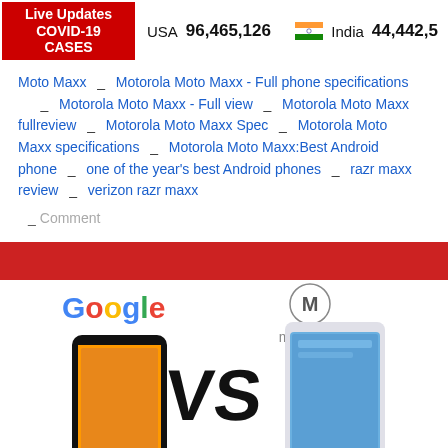Live Updates COVID-19 CASES | USA 96,465,126 | India 44,442,5...
Moto Maxx _ Motorola Moto Maxx - Full phone specifications _ Motorola Moto Maxx - Full view _ Motorola Moto Maxx fullreview _ Motorola Moto Maxx Spec _ Motorola Moto Maxx specifications _ Motorola Moto Maxx:Best Android phone _ one of the year's best Android phones _ razr maxx review _ verizon razr maxx
_ Comment
[Figure (illustration): Google Nexus 5 vs Motorola Moto Maxx comparison image showing both smartphones side by side with a large VS text in the center, Google logo top left, Motorola logo top right]